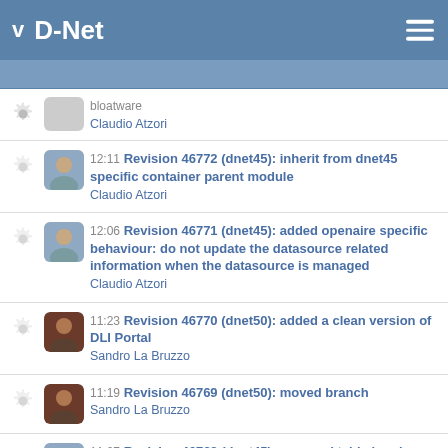D-Net
12:11 Revision 46772 (dnet45): inherit from dnet45 specific container parent module
Claudio Atzori
12:06 Revision 46771 (dnet45): added openaire specific behaviour: do not update the datasource related information when the datasource is managed
Claudio Atzori
11:23 Revision 46770 (dnet50): added a clean version of DLI Portal
Sandro La Bruzzo
11:19 Revision 46769 (dnet50): moved branch
Sandro La Bruzzo
11:07 Revision 46768 (dnet45): removed table logging bloatware
Claudio Atzori